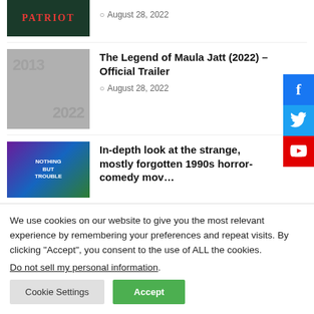[Figure (photo): Thumbnail image for Patriot article, dark green background with red PATRIOT text]
August 28, 2022
[Figure (photo): Thumbnail image for The Legend of Maula Jatt, grey background with large numbers 2013/2022]
The Legend of Maula Jatt (2022) – Official Trailer
August 28, 2022
[Figure (photo): Thumbnail for Nothing But Trouble, showing a strange character, colorful background]
In-depth look at the strange, mostly forgotten 1990s horror-comedy mov…
[Figure (illustration): Facebook share button, blue background with white f icon]
[Figure (illustration): Twitter share button, light blue background with white bird icon]
[Figure (illustration): YouTube share button, red background with YouTube logo]
We use cookies on our website to give you the most relevant experience by remembering your preferences and repeat visits. By clicking “Accept”, you consent to the use of ALL the cookies.
Do not sell my personal information.